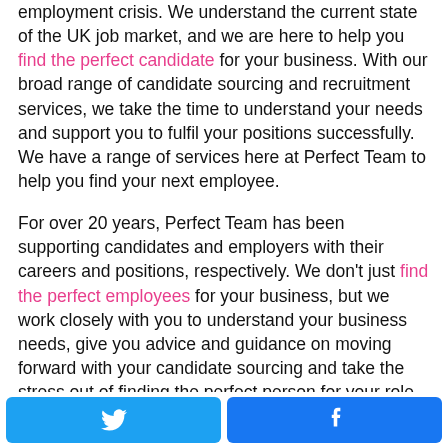employment crisis. We understand the current state of the UK job market, and we are here to help you find the perfect candidate for your business. With our broad range of candidate sourcing and recruitment services, we take the time to understand your needs and support you to fulfil your positions successfully. We have a range of services here at Perfect Team to help you find your next employee.
For over 20 years, Perfect Team has been supporting candidates and employers with their careers and positions, respectively. We don't just find the perfect employees for your business, but we work closely with you to understand your business needs, give you advice and guidance on moving forward with your candidate sourcing and take the stress out of finding the perfect person for your role and team. For more information about our recruitment services or to
[Figure (other): Two social share buttons: Twitter (blue, bird icon) and Facebook (blue, f icon)]